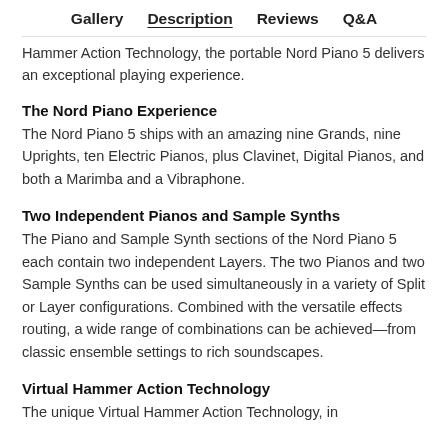Gallery   Description   Reviews   Q&A
Hammer Action Technology, the portable Nord Piano 5 delivers an exceptional playing experience.
The Nord Piano Experience
The Nord Piano 5 ships with an amazing nine Grands, nine Uprights, ten Electric Pianos, plus Clavinet, Digital Pianos, and both a Marimba and a Vibraphone.
Two Independent Pianos and Sample Synths
The Piano and Sample Synth sections of the Nord Piano 5 each contain two independent Layers. The two Pianos and two Sample Synths can be used simultaneously in a variety of Split or Layer configurations. Combined with the versatile effects routing, a wide range of combinations can be achieved—from classic ensemble settings to rich soundscapes.
Virtual Hammer Action Technology
The unique Virtual Hammer Action Technology, in